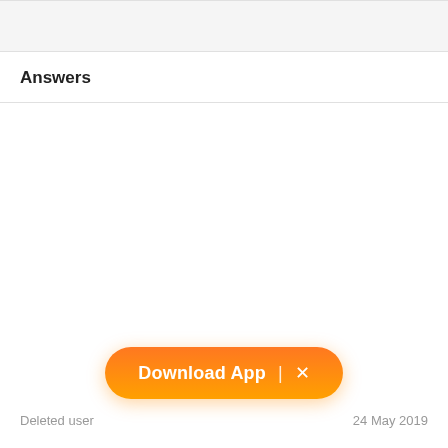Answers
[Figure (screenshot): Empty white content area below Answers section header]
[Figure (infographic): Orange gradient Download App button with close (x) icon]
Deleted user   24 May 2019